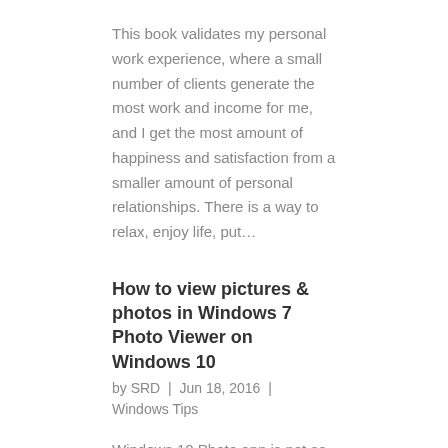This book validates my personal work experience, where a small number of clients generate the most work and income for me, and I get the most amount of happiness and satisfaction from a smaller amount of personal relationships. There is a way to relax, enjoy life, put...
How to view pictures & photos in Windows 7 Photo Viewer on Windows 10
by SRD | Jun 18, 2016 | Windows Tips
Windows 10 Photo app is not as user friendly as the original Windows Photo Viewer in Windows 7. Read on for the solution to Windows Photo Viewer being missing in Windows 10.
Keeping an external hard disk drive active
by SRD | Jun 18, 2016 | Software Recommendations